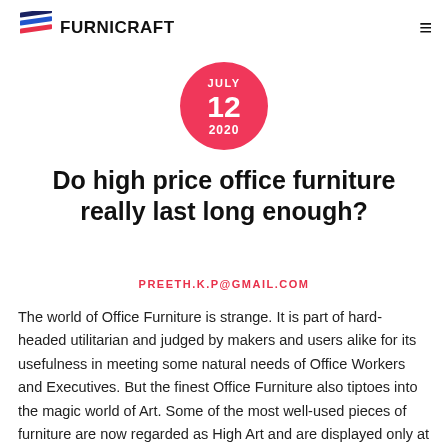FURNICRAFT
[Figure (other): Pink circle date badge showing JULY 12 2020]
Do high price office furniture really last long enough?
PREETH.K.P@GMAIL.COM
The world of Office Furniture is strange. It is part of hard-headed utilitarian and judged by makers and users alike for its usefulness in meeting some natural needs of Office Workers and Executives. But the finest Office Furniture also tiptoes into the magic world of Art. Some of the most well-used pieces of furniture are now regarded as High Art and are displayed only at the top Art Museums